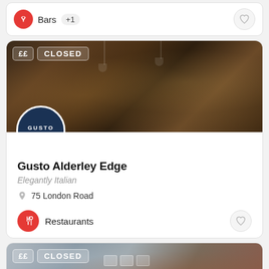Bars +1
[Figure (screenshot): Restaurant listing card for Gusto Alderley Edge showing a dark bar interior image with ££ and CLOSED badges, Gusto logo circle, venue name, subtitle, address, and Restaurants category]
Gusto Alderley Edge
Elegantly Italian
75 London Road
Restaurants
[Figure (photo): Bottom restaurant listing card showing interior with ££ and CLOSED badges, light grey/blue wall with brick and table setting visible]